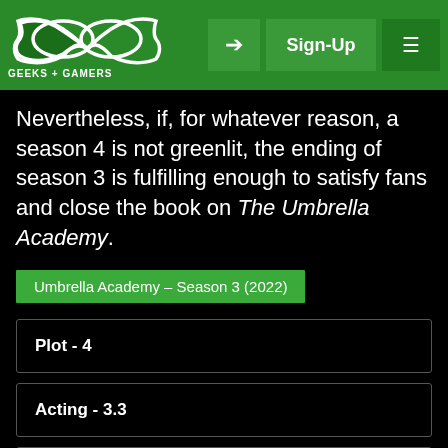[Figure (logo): Geeks + Gamers logo with infinity-style icon and text, green header bar with Sign-Up button and menu]
Nevertheless, if, for whatever reason, a season 4 is not greenlit, the ending of season 3 is fulfilling enough to satisfy fans and close the book on The Umbrella Academy.
Umbrella Academy – Season 3 (2022)
| Plot - 4 |
| Acting - 3.3 |
| Progression - 4 |